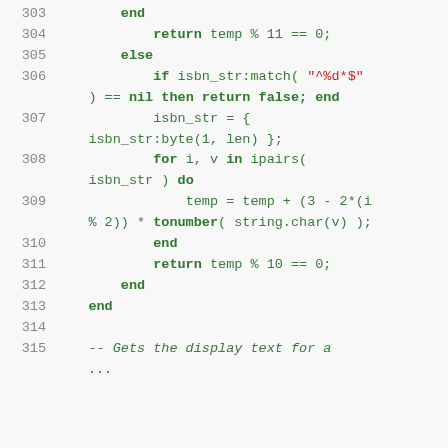Code listing lines 303–315, Lua source code showing ISBN validation logic